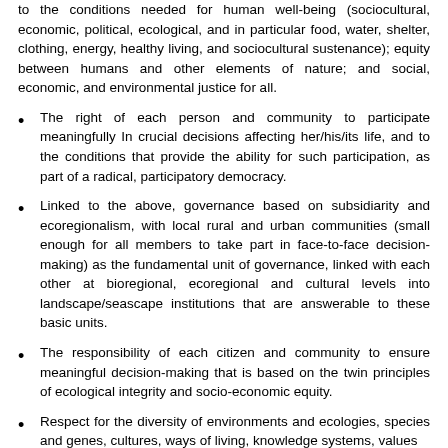to the conditions needed for human well-being (sociocultural, economic, political, ecological, and in particular food, water, shelter, clothing, energy, healthy living, and sociocultural sustenance); equity between humans and other elements of nature; and social, economic, and environmental justice for all.
The right of each person and community to participate meaningfully in crucial decisions affecting her/his/its life, and to the conditions that provide the ability for such participation, as part of a radical, participatory democracy.
Linked to the above, governance based on subsidiarity and ecoregionalism, with local rural and urban communities (small enough for all members to take part in face-to-face decision-making) as the fundamental unit of governance, linked with each other at bioregional, ecoregional and cultural levels into landscape/seascape institutions that are answerable to these basic units.
The responsibility of each citizen and community to ensure meaningful decision-making that is based on the twin principles of ecological integrity and socio-economic equity.
Respect for the diversity of environments and ecologies, species and genes, cultures, ways of living, knowledge systems, values